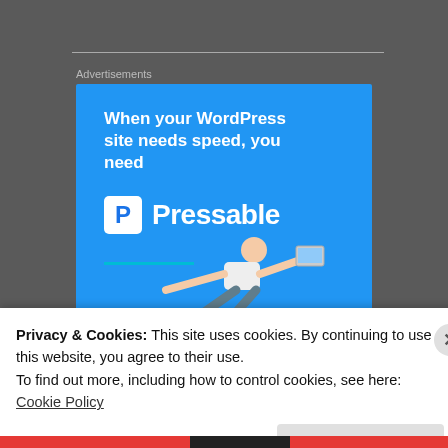Advertisements
[Figure (illustration): Pressable WordPress hosting advertisement banner on blue background with man flying holding laptop and START NOW button]
Privacy & Cookies: This site uses cookies. By continuing to use this website, you agree to their use.
To find out more, including how to control cookies, see here: Cookie Policy
Close and accept